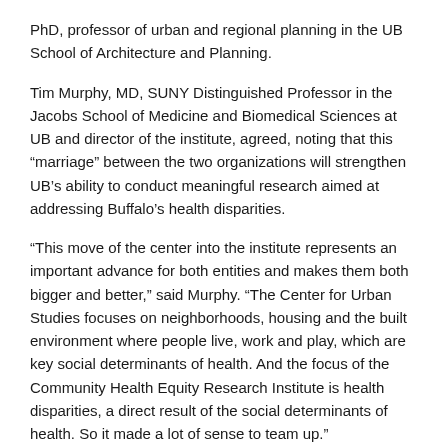PhD, professor of urban and regional planning in the UB School of Architecture and Planning.
Tim Murphy, MD, SUNY Distinguished Professor in the Jacobs School of Medicine and Biomedical Sciences at UB and director of the institute, agreed, noting that this “marriage” between the two organizations will strengthen UB’s ability to conduct meaningful research aimed at addressing Buffalo’s health disparities.
“This move of the center into the institute represents an important advance for both entities and makes them both bigger and better,” said Murphy. “The Center for Urban Studies focuses on neighborhoods, housing and the built environment where people live, work and play, which are key social determinants of health. And the focus of the Community Health Equity Research Institute is health disparities, a direct result of the social determinants of health. So it made a lot of sense to team up.”
Action-based research